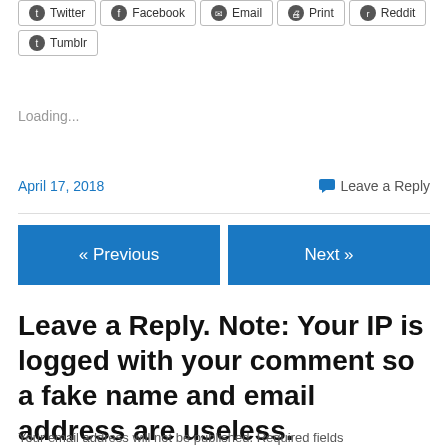[Figure (other): Row of social share buttons: Twitter, Facebook, Email, Print, Reddit, Tumblr]
Loading...
April 17, 2018    💬 Leave a Reply
« Previous    Next »
Leave a Reply. Note: Your IP is logged with your comment so a fake name and email address are useless.
Your email address will not be published. Required fields